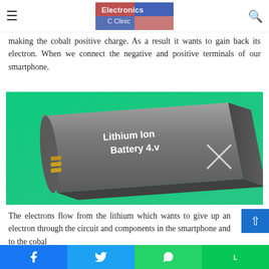Electronics Clinic
making the cobalt positive charge. As a result it wants to gain back its electron. When we connect the negative and positive terminals of our smartphone.
[Figure (photo): A gray Lithium Ion Battery 4.v smartphone battery on a green background, viewed at an angle showing the top and front face.]
The electrons flow from the lithium which wants to give up an electron through the circuit and components in the smartphone and to the cobalt